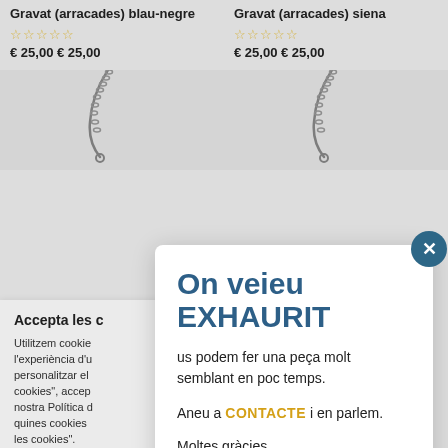Gravat (arracades) blau-negre
☆☆☆☆☆
€ 25,00 € 25,00
[Figure (photo): Necklace chain photo left]
Gravat (arracades) siena
☆☆☆☆☆
€ 25,00 € 25,00
[Figure (photo): Necklace chain photo right]
Accepta les c
Utilitzem cookie l'experiència d'u personalitzar el cookies", accep nostra Política d quines cookies les cookies".
Configurar les c
On veieu EXHAURIT
us podem fer una peça molt semblant en poc temps.
Aneu a CONTACTE i en parlem.
Moltes gràcies